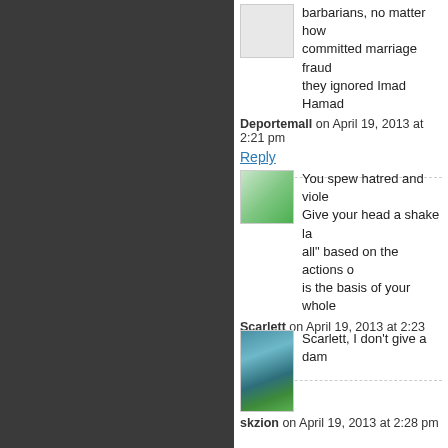barbarians, no matter how committed marriage fraud they ignored Imad Hamad
Deportemall on April 19, 2013 at 2:21 pm
Reply
You spew hatred and viole Give your head a shake la all" based on the actions o is the basis of your whole
Scarlett on April 19, 2013 at 2:23 pm
Reply
[Figure (photo): Thumbnail image of a castle or building with green lawn]
Scarlett, I don't give a dam
skzion on April 19, 2013 at 2:28 pm